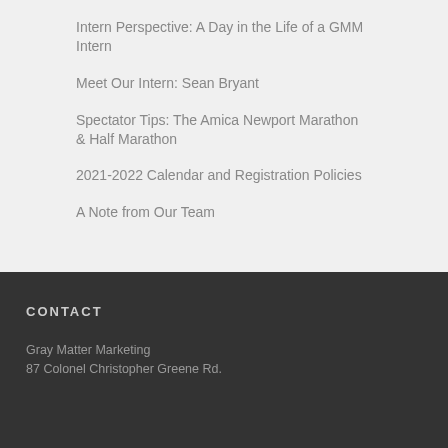Intern Perspective: A Day in the Life of a GMM Intern
Meet Our Intern: Sean Bryant
Spectator Tips: The Amica Newport Marathon & Half Marathon
2021-2022 Calendar and Registration Policies
A Note from Our Team
CONTACT
Gray Matter Marketing
87 Colonel Christopher Greene Rd.